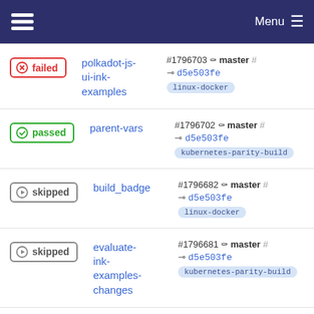Menu
failed | polkadot-js-ui-ink-examples | #1796703 master | d5e503fe | linux-docker
passed | parent-vars | #1796702 master | d5e503fe | kubernetes-parity-build
skipped | build_badge | #1796682 master | d5e503fe | linux-docker
skipped | evaluate-ink-examples-changes | #1796681 master | d5e503fe | kubernetes-parity-build
failed | polkadot-js- | #1796680 master